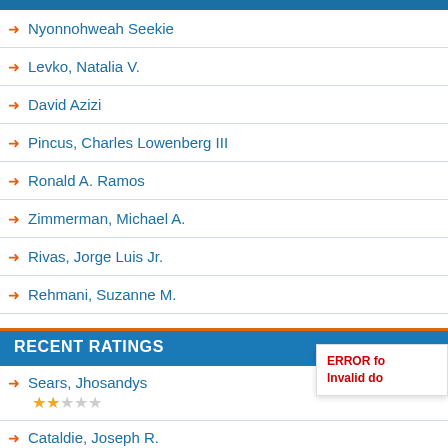Nyonnohweah Seekie
Levko, Natalia V.
David Azizi
Pincus, Charles Lowenberg III
Ronald A. Ramos
Zimmerman, Michael A.
Rivas, Jorge Luis Jr.
Rehmani, Suzanne M.
RECENT RATINGS
Sears, Jhosandys — 2 stars
Cataldie, Joseph R. — 5 stars
Nass, Eric M. — 4 stars